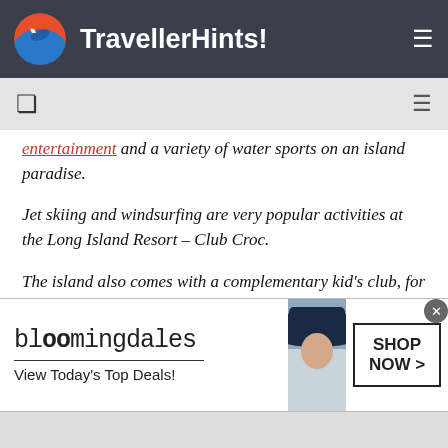TravellerHints!
entertainment and a variety of water sports on an island paradise.
Jet skiing and windsurfing are very popular activities at the Long Island Resort – Club Croc.
The island also comes with a complementary kid's club, for children aged 4-14, which allows the adults to enjoy a bit of
[Figure (screenshot): Bloomingdale's advertisement banner with woman in wide-brim hat and Shop Now button]